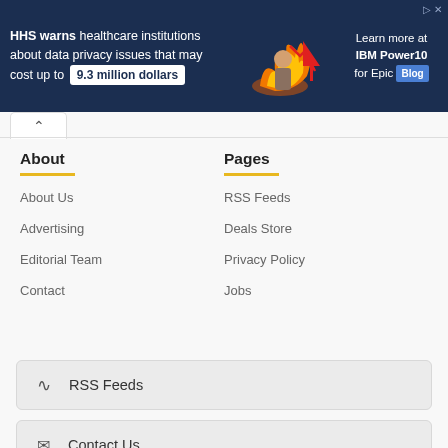[Figure (infographic): Dark navy blue advertisement banner. Text reads: HHS warns healthcare institutions about data privacy issues that may cost up to 9.3 million dollars. Right side shows IBM Power10 for Epic Blog branding. Center shows a man with flames and a downward red arrow chart graphic.]
About
About Us
Advertising
Editorial Team
Contact
Pages
RSS Feeds
Deals Store
Privacy Policy
Jobs
RSS Feeds
Contact Us
Telegram Channel